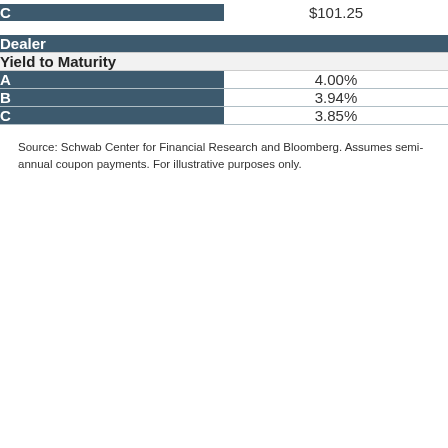| Dealer | Price |
| --- | --- |
| C | $101.25 |
| Dealer | Yield to Maturity |
| --- | --- |
| A | 4.00% |
| B | 3.94% |
| C | 3.85% |
Source: Schwab Center for Financial Research and Bloomberg. Assumes semi-annual coupon payments. For illustrative purposes only.